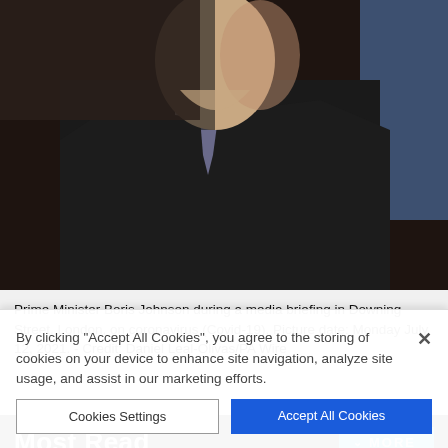[Figure (photo): Close-up photo of Prime Minister Boris Johnson in profile, wearing a dark suit and tie, against a dark background with a blue element visible.]
Prime Minister Boris Johnson during a media briefing in Downing Street, London, on coronavirus (Covid-19). Picture date: Monday July 12, 2021. - Credit: Daniel Leal-Olivas/PA Wire
Most Read
Guilty: Window cleaner 'crushed victim's heart' as he mowed down two men
By clicking "Accept All Cookies", you agree to the storing of cookies on your device to enhance site navigation, analyze site usage, and assist in our marketing efforts.